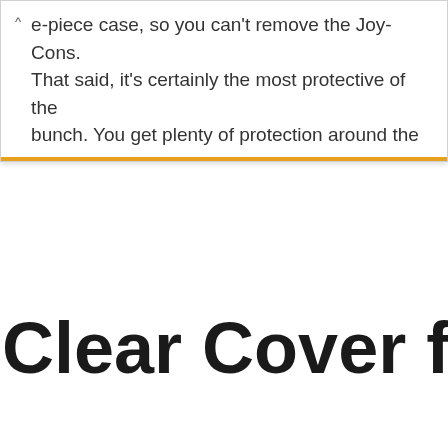e-piece case, so you can't remove the Joy-Cons. That said, it's certainly the most protective of the bunch. You get plenty of protection around the
Clear Cover for N